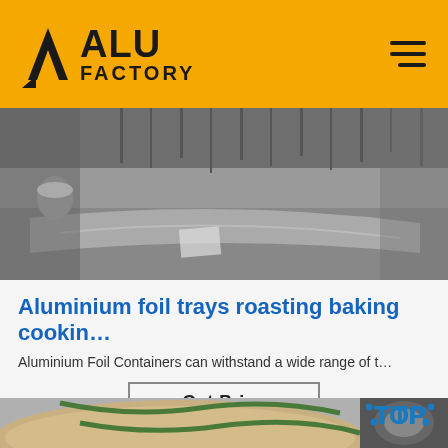ALU FACTORY
[Figure (photo): Industrial photo showing aluminium foil manufacturing equipment, overhead view in black and white tones]
Aluminium foil trays roasting baking cookin…
Aluminium Foil Containers can withstand a wide range of t…
Get Price
[Figure (photo): Large rolls of aluminium foil material wrapped in brown paper with green straps, and a small circular TOP badge overlay in the bottom right]